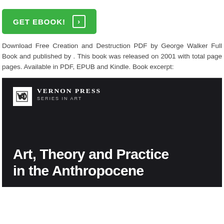[Figure (other): Green GET EBOOK! button with arrow icon]
Download Free Creation and Destruction PDF by George Walker Full Book and published by . This book was released on 2001 with total page pages. Available in PDF, EPUB and Kindle. Book excerpt:
[Figure (photo): Book cover image: Vernon Press Series in Art. Dark background with bold white text reading 'Art, Theory and Practice in the Anthropocene']